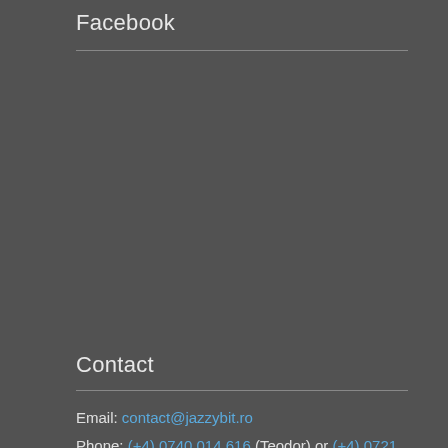Facebook
Contact
Email: contact@jazzybit.ro
Phone: (+4) 0740 014 616 (Teodor) or (+4) 0721 115